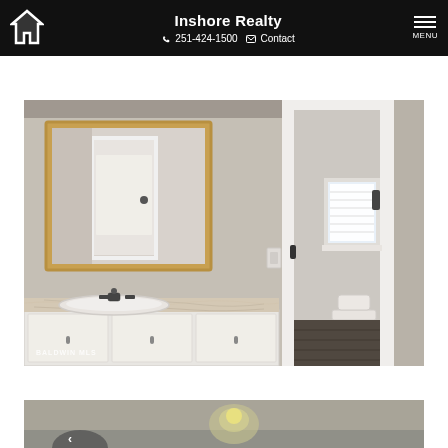Inshore Realty | 251-424-1500 | Contact | MENU
[Figure (photo): Interior bathroom photo showing a marble-top vanity with undermount sink and oil-rubbed bronze faucet, framed wood mirror above, and a doorway leading into a separate water closet/toilet room with window, dark hardwood floors. Baldwin MLS watermark in lower left corner.]
[Figure (photo): Bottom portion of a second interior photo, partially visible, showing ceiling with recessed lighting in a room with light-colored walls.]